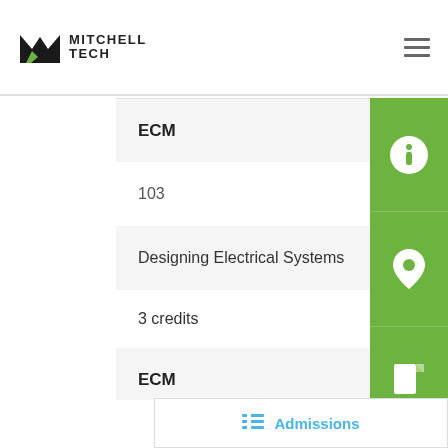Mitchell Tech
| Department | Course Number | Course Name | Credits |
| --- | --- | --- | --- |
| ECM | 103 | Designing Electrical Systems | 3 credits |
| ECM | 122 | Residential Blueprint Code | 3 credits |
| ECM |  |  |  |